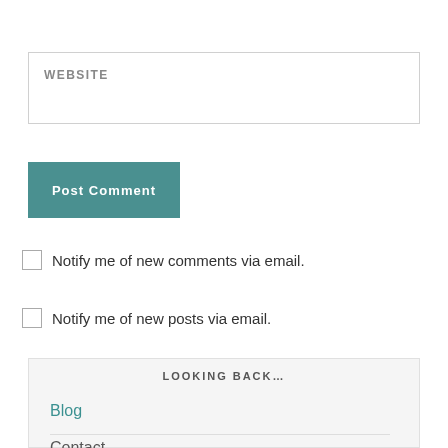WEBSITE
Post Comment
Notify me of new comments via email.
Notify me of new posts via email.
LOOKING BACK…
Blog
Contact